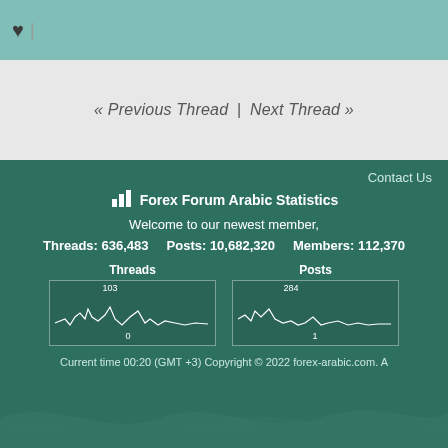♥ |
« Previous Thread | Next Thread »
Contact Us
Forex Forum Arabic Statistics
Welcome to our newest member,
Threads: 636,483   Posts: 10,682,320   Members: 112,370
[Figure (line-chart): Threads]
[Figure (line-chart): Posts]
Current time 00:20 (GMT +3) Copyright © 2022 forex-arabic.com. A